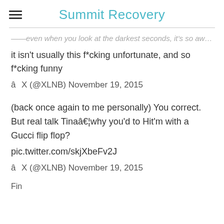Summit Recovery
...even when you look at the darkest seconds, it's so awkward, it isn't usually this f*cking unfortunate, and so f*cking funny
â X (@XLNB) November 19, 2015
(back once again to me personally) You correct. But real talk Tinaâ¦why you'd to Hit'm with a Gucci flip flop? pic.twitter.com/skjXbeFv2J
â X (@XLNB) November 19, 2015
Fin